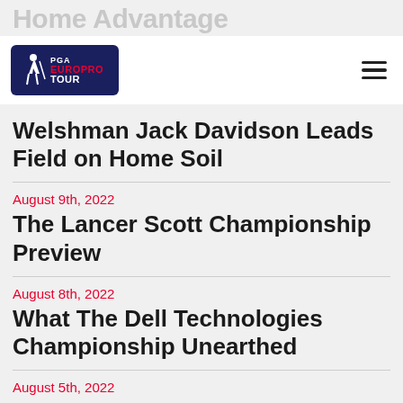Home Advantage
[Figure (logo): PGA EuroPro Tour logo - dark navy rounded rectangle with golfer silhouette and red EUROPRO text]
Welshman Jack Davidson Leads Field on Home Soil
August 9th, 2022
The Lancer Scott Championship Preview
August 8th, 2022
What The Dell Technologies Championship Unearthed
August 5th, 2022